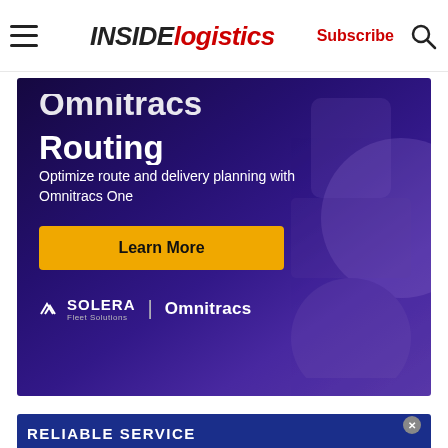INSIDE logistics — Subscribe
[Figure (screenshot): Omnitracs Routing advertisement banner. Purple/dark blue gradient background. Partially cropped heading 'Omnitracs Routing'. Subtext: 'Optimize route and delivery planning with Omnitracs One'. Yellow 'Learn More' button. Solera Fleet Solutions | Omnitracs branding at bottom.]
[Figure (screenshot): Partially visible bottom advertisement banner with blue background. Text: 'RELIABLE SERVICE' in white caps. Close X button visible.]